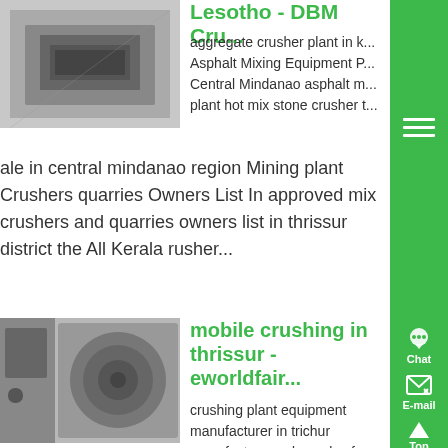[Figure (photo): Photo of industrial crushing/mining equipment, appears to be a metal box/hopper device, gray tones]
Lesotho - DBM Cru...
aggregate crusher plant in k... Asphalt Mixing Equipment P... Central Mindanao asphalt m... plant hot mix stone crusher ...
ale in central mindanao region Mining plant Crushers quarries Owners List In approved mix crushers and quarries owners list in thrissur district the All Kerala rusher...
[Figure (photo): Photo of industrial mobile crushing equipment, cylindrical drum/roller visible, gray tones]
mobile crushing in thrissur - eworldfair...
crushing plant equipment manufacturer in trichur manufacture and supply of